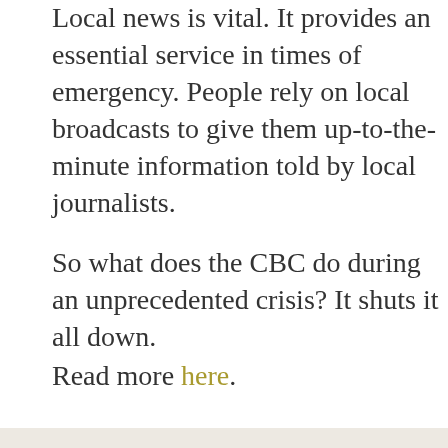Local news is vital. It provides an essential service in times of emergency. People rely on local broadcasts to give them up-to-the-minute information told by local journalists.
So what does the CBC do during an unprecedented crisis? It shuts it all down.
Read more here.
No comments:
CBC staff members can be heard laughing
Two CBC staff members can be heard laughing and casually conversing while fa…